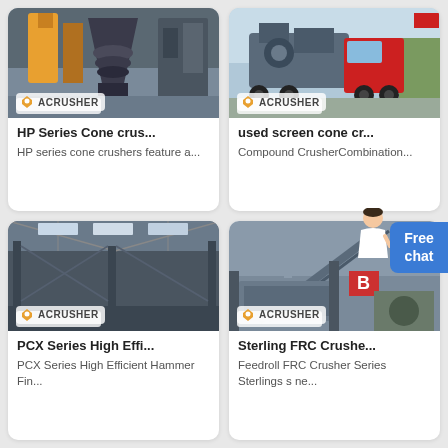[Figure (photo): HP Series cone crusher machine in industrial facility with ACRUSHER logo]
HP Series Cone crus...
HP series cone crushers feature a...
[Figure (photo): Used screen cone crusher loaded on red truck with ACRUSHER logo]
used screen cone cr...
Compound CrusherCombination...
[Figure (photo): PCX Series high efficiency hammer fine crusher in large industrial warehouse with ACRUSHER logo]
PCX Series High Effi...
PCX Series High Efficient Hammer Fin...
[Figure (photo): Sterling FRC Crusher conveyor belt system in industrial facility with ACRUSHER logo]
Sterling FRC Crushe...
Feedroll FRC Crusher Series Sterlings s ne...